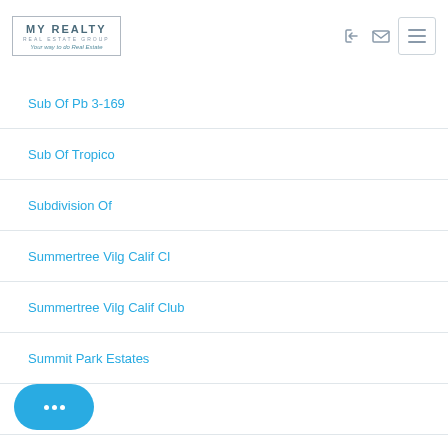[Figure (logo): My Realty Real Estate Group logo in a bordered box with tagline]
Sub Of Pb 3-169
Sub Of Tropico
Subdivision Of
Summertree Vilg Calif Cl
Summertree Vilg Calif Club
Summit Park Estates
Estates
Sun Valley Estates 1St Ad